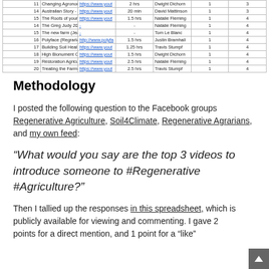| # | Title | Link | Duration | Recommender | Col1 | Col2 |
| --- | --- | --- | --- | --- | --- | --- |
| 11 | Changing Agronomy With Biology Webinar with John K | https://www.yout | 2 hrs | Dwight Dichorn | 1 | 3 |
| 14 | Australian Story - Land Regeneration (Peter Andrews) | https://www.yout | 20 min | David Mattinson | 1 | 3 |
| 15 | The Roots of your Profits (Elaine Ingham) | https://www.yout | 1.5 hrs | Natalie Fleming | 1 | 4 |
| 14 | The Greg Judy 2011 conference vid | - | - | Natalie Fleming | 1 | 4 |
| 15 | The new farm (Jean-Martin Fortier) | - | - | Tom Le Blanc | 1 | 4 |
| 16 | Polyface (Regrarians) | http://www.polyfa | 1.5 hrs | Justin Bramhall | 1 | 4 |
| 17 | Building Soil Health for Healthy Plants by soil scientist D | https://www.yout | 1.25 hrs | Travis Stumpf | 1 | 4 |
| 18 | High Bionument Crop Production (Dan Kittredge) | https://www.yout | 1.5 hrs | Dwight Dichorn | 1 | 4 |
| 19 | Restoration Agriculture (Mark Shepard) | https://www.yout | 2.5 hrs | Natalie Fleming | 1 | 4 |
| 20 | Treating the Farm as an Ecosystem (Gabe Brown) | https://www.yout | 2.5 hrs | Travis Stumpf | 1 | 4 |
Methodology
I posted the following question to the Facebook groups Regenerative Agriculture, Soil4Climate, Regenerative Agrarians, and my own feed:
“What would you say are the top 3 videos to introduce someone to #Regenerative #Agriculture?”
Then I tallied up the responses in this spreadsheet, which is publicly available for viewing and commenting. I gave 2 points for a direct mention, and 1 point for a “like”